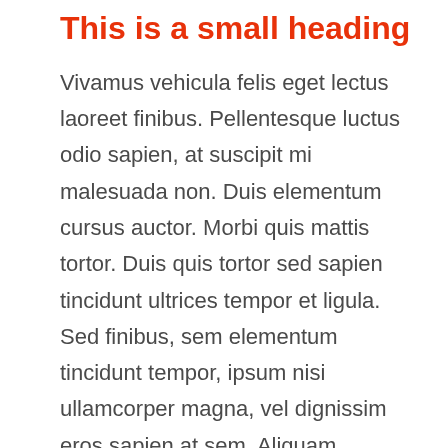This is a small heading
Vivamus vehicula felis eget lectus laoreet finibus. Pellentesque luctus odio sapien, at suscipit mi malesuada non. Duis elementum cursus auctor. Morbi quis mattis tortor. Duis quis tortor sed sapien tincidunt ultrices tempor et ligula. Sed finibus, sem elementum tincidunt tempor, ipsum nisi ullamcorper magna, vel dignissim eros sapien at sem. Aliquam interdum, ante eget sagittis fermentum, mauris metus luctus sem, at molestie lorem.